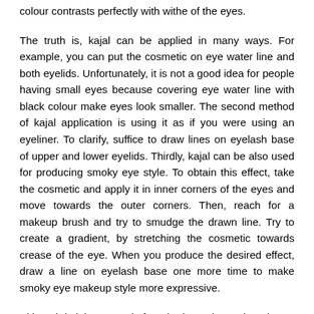colour contrasts perfectly with withe of the eyes.
The truth is, kajal can be applied in many ways. For example, you can put the cosmetic on eye water line and both eyelids. Unfortunately, it is not a good idea for people having small eyes because covering eye water line with black colour make eyes look smaller. The second method of kajal application is using it as if you were using an eyeliner. To clarify, suffice to draw lines on eyelash base of upper and lower eyelids. Thirdly, kajal can be also used for producing smoky eye style. To obtain this effect, take the cosmetic and apply it in inner corners of the eyes and move towards the outer corners. Then, reach for a makeup brush and try to smudge the drawn line. Try to create a gradient, by stretching the cosmetic towards crease of the eye. When you produce the desired effect, draw a line on eyelash base one more time to make smoky eye makeup style more expressive.
Although kajals are made from herbs and camphor, these